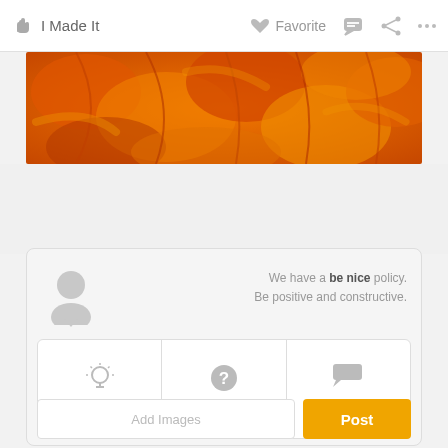I Made It   Favorite   [comment icon]   [share icon]   ...
[Figure (photo): Close-up photo of orange sliced citrus fruit segments with rich orange color and texture]
We have a be nice policy. Be positive and constructive.
[Figure (infographic): Three buttons: Tip (lightbulb icon), Question (question mark icon), Comment (speech bubble icon)]
Add Images
Post